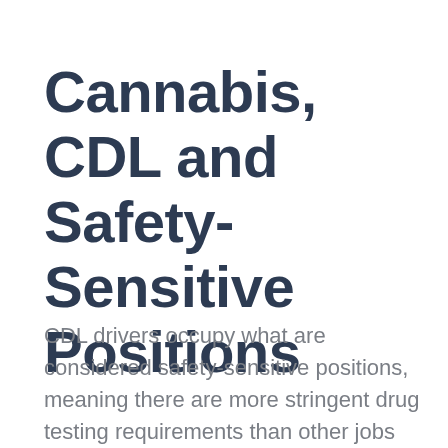Cannabis, CDL and Safety-Sensitive Positions
CDL drivers occupy what are considered safety-sensitive positions, meaning there are more stringent drug testing requirements than other jobs because they require a worker's complete and unimpaired judgment